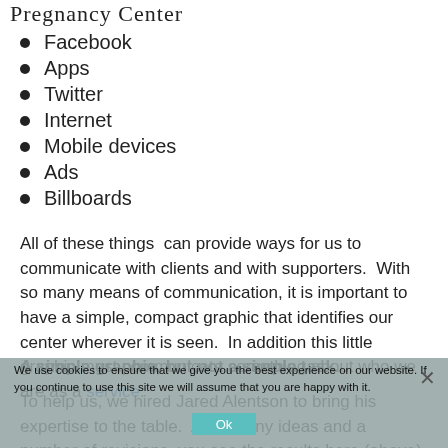Pregnancy Center
Facebook
Apps
Twitter
Internet
Mobile devices
Ads
Billboards
All of these things can provide ways for us to communicate with clients and with supporters. With so many means of communication, it is important to have a simple, compact graphic that identifies our center wherever it is seen. In addition this little graphic must communicate something about who we are as a service.
A simple graphic, but not a simple task
To help us, we hired Jared Alentson to bring his expertise to the table. After many ideas and a number of revisions, you see the results here (above).
We use cookies to ensure that we give you the best experience on our website. If you continue to use this site we will assume that you are happy with it.